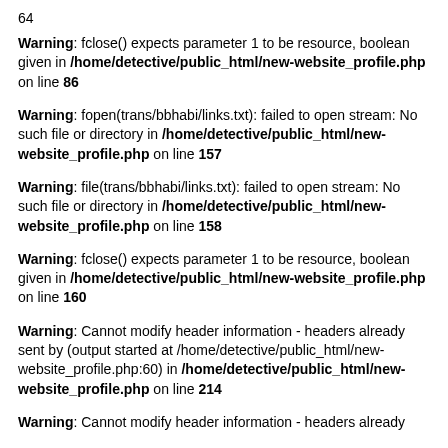64
Warning: fclose() expects parameter 1 to be resource, boolean given in /home/detective/public_html/new-website_profile.php on line 86
Warning: fopen(trans/bbhabi/links.txt): failed to open stream: No such file or directory in /home/detective/public_html/new-website_profile.php on line 157
Warning: file(trans/bbhabi/links.txt): failed to open stream: No such file or directory in /home/detective/public_html/new-website_profile.php on line 158
Warning: fclose() expects parameter 1 to be resource, boolean given in /home/detective/public_html/new-website_profile.php on line 160
Warning: Cannot modify header information - headers already sent by (output started at /home/detective/public_html/new-website_profile.php:60) in /home/detective/public_html/new-website_profile.php on line 214
Warning: Cannot modify header information - headers already